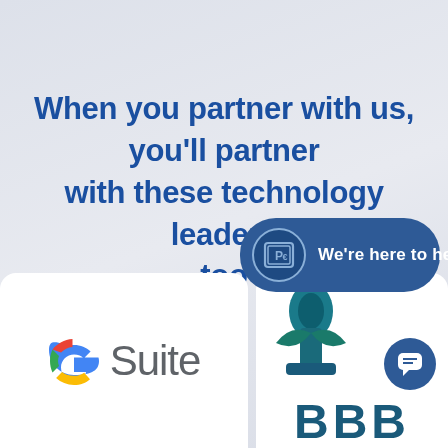When you partner with us, you'll partner with these technology leaders too
[Figure (logo): Google G Suite logo on white rounded panel]
[Figure (infographic): Blue rounded chat bubble with PC circle icon and text 'We're here to help!']
[Figure (logo): BBB (Better Business Bureau) logo on white rounded panel with partial icon visible and BBB text]
[Figure (logo): Blue circle chat icon in lower right]